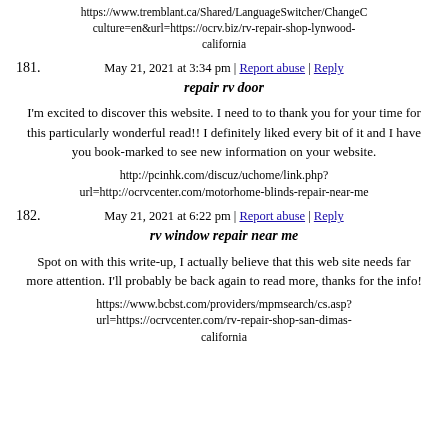https://www.tremblant.ca/Shared/LanguageSwitcher/ChangeC culture=en&url=https://ocrv.biz/rv-repair-shop-lynwood-california
May 21, 2021 at 3:34 pm | Report abuse | Reply
181. repair rv door
I'm excited to discover this website. I need to to thank you for your time for this particularly wonderful read!! I definitely liked every bit of it and I have you book-marked to see new information on your website.
http://pcinhk.com/discuz/uchome/link.php?url=http://ocrvcenter.com/motorhome-blinds-repair-near-me
May 21, 2021 at 6:22 pm | Report abuse | Reply
182. rv window repair near me
Spot on with this write-up, I actually believe that this web site needs far more attention. I'll probably be back again to read more, thanks for the info!
https://www.bcbst.com/providers/mpmsearch/cs.asp?url=https://ocrvcenter.com/rv-repair-shop-san-dimas-california